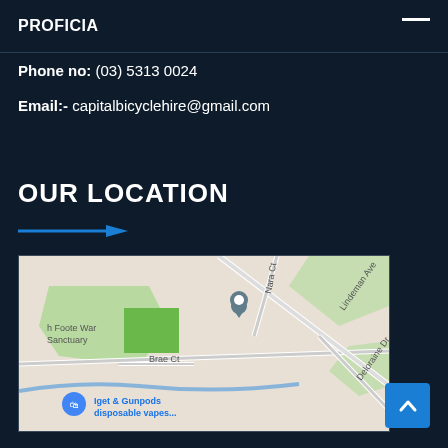PROFICIA
Phone no: (03) 5313 0024
Email:- capitalbicyclehire@gmail.com
OUR LOCATION
[Figure (map): Google Maps screenshot showing a location pin near Nara Ct and Lindeman Ave area, with labels for 'h Foote War Sanctuary', 'Brae Ct', 'Deloraine Dr', and 'Iget & Gunpods disposable vapes...' marker visible at bottom left.]
[Figure (other): Blue scroll-to-top button with upward chevron arrow in bottom right corner]